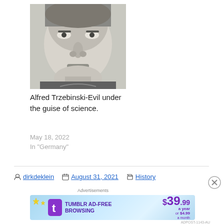[Figure (photo): Black and white portrait photo of a man, close-up face shot]
Alfred Trzebinski-Evil under the guise of science.
May 18, 2022
In "Germany"
dirkdeklein   August 31, 2021   History
[Figure (infographic): Tumblr Ad-Free Browsing advertisement banner. $39.99 a year or $4.99 a month.]